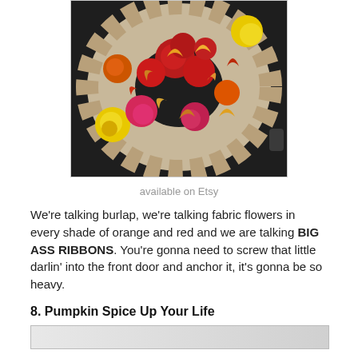[Figure (photo): A large decorative fall wreath made of burlap with fabric flowers in red, orange, and yellow, and faux autumn leaves, hanging on a dark front door.]
available on Etsy
We're talking burlap, we're talking fabric flowers in every shade of orange and red and we are talking BIG ASS RIBBONS. You're gonna need to screw that little darlin' into the front door and anchor it, it's gonna be so heavy.
8. Pumpkin Spice Up Your Life
[Figure (photo): Bottom edge of another image, partially visible.]